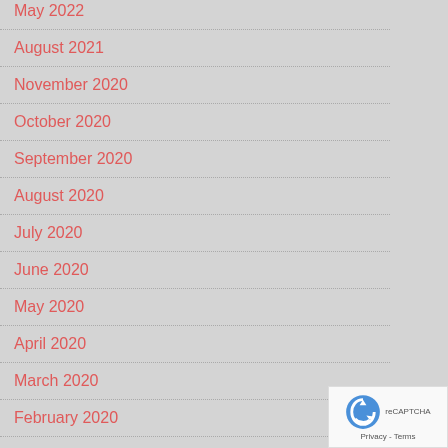May 2022
August 2021
November 2020
October 2020
September 2020
August 2020
July 2020
June 2020
May 2020
April 2020
March 2020
February 2020